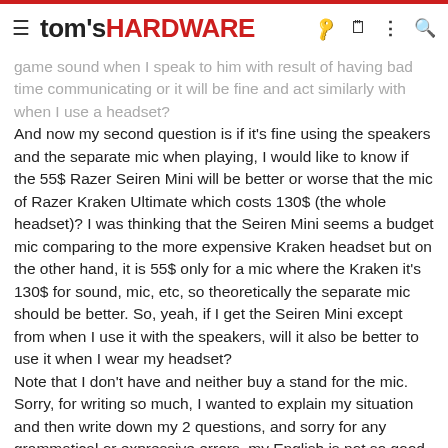tom's HARDWARE
game sound when I speak to him with result of having bad time communicating or it will be fine and act similarly with when I use a headset?
And now my second question is if it's fine using the speakers and the separate mic when playing, I would like to know if the 55$ Razer Seiren Mini will be better or worse that the mic of Razer Kraken Ultimate which costs 130$ (the whole headset)? I was thinking that the Seiren Mini seems a budget mic comparing to the more expensive Kraken headset but on the other hand, it is 55$ only for a mic where the Kraken it's 130$ for sound, mic, etc, so theoretically the separate mic should be better. So, yeah, if I get the Seiren Mini except from when I use it with the speakers, will it also be better to use it when I wear my headset?
Note that I don't have and neither buy a stand for the mic.
Sorry, for writing so much, I wanted to explain my situation and then write down my 2 questions, and sorry for any grammatical or expressive errors, my English is not so good.
Lastly, I should say that I am not searching for a mic, I have chosen